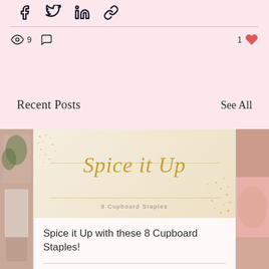[Figure (screenshot): Social media share icons: Facebook, Twitter, LinkedIn, Link]
9 views, 0 comments, 1 like
Recent Posts
See All
[Figure (photo): Left side card showing partial image]
[Figure (illustration): Main blog post card with decorative image showing Spice it Up / 8 Cupboard Staples on a beige background with gold script text]
Spice it Up with these 8 Cupboard Staples!
23 views, 0 comments, 1 like
[Figure (photo): Right side card showing partial image]